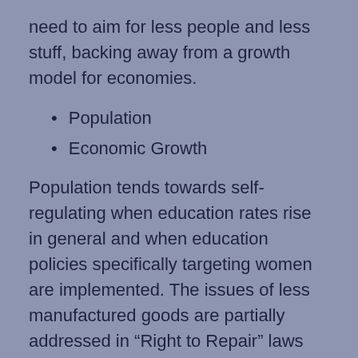need to aim for less people and less stuff, backing away from a growth model for economies.
Population
Economic Growth
Population tends towards self-regulating when education rates rise in general and when education policies specifically targeting women are implemented. The issues of less manufactured goods are partially addressed in “Right to Repair” laws that create longer-lasting products and the legal ability/capability to